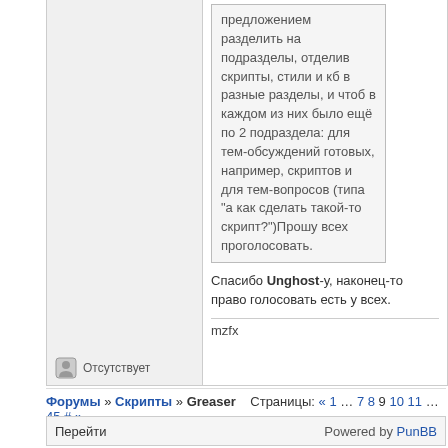предложением разделить на подразделы, отделив скрипты, стили и кб в разные разделы, и чтоб в каждом из них было ещё по 2 подраздела: для тем-обсуждений готовых, например, скриптов и для тем-вопросов (типа "а как сделать такой-то скрипт?")Прошу всех проголосовать.
Спасибо Unghost-у, наконец-то право голосовать есть у всех.
mzfx
Отсутствует
Форумы » Скрипты » Greaser   Страницы: « 1 … 7 8 9 10 11 … 45 # »
Перейти   Powered by PunBB